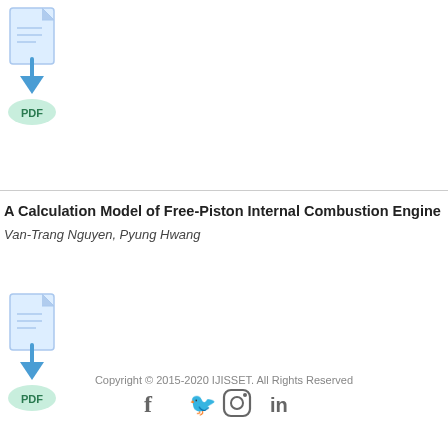[Figure (illustration): PDF download icon with blue arrow, top of page]
A Calculation Model of Free-Piston Internal Combustion Engine
Van-Trang Nguyen, Pyung Hwang
[Figure (illustration): PDF download icon with blue arrow, below authors]
Copyright © 2015-2020 IJISSET. All Rights Reserved
[Figure (illustration): Social media icons: Facebook, Twitter, Instagram, LinkedIn]